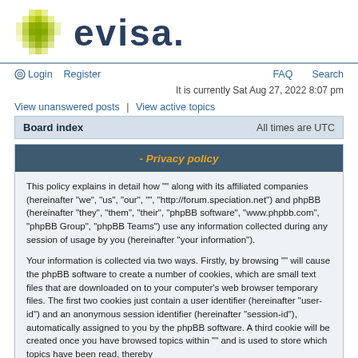[Figure (logo): Evisa logo with green pixel cross and dark blue 'evisa.' text]
Login  Register  FAQ  Search
It is currently Sat Aug 27, 2022 8:07 pm
View unanswered posts | View active topics
Board index  All times are UTC
- Privacy policy
This policy explains in detail how "" along with its affiliated companies (hereinafter “we”, “us”, “our”, ””, “http://forum.speciation.net”) and phpBB (hereinafter “they”, “them”, “their”, “phpBB software”, “www.phpbb.com”, “phpBB Group”, “phpBB Teams”) use any information collected during any session of usage by you (hereinafter “your information”).
Your information is collected via two ways. Firstly, by browsing "" will cause the phpBB software to create a number of cookies, which are small text files that are downloaded on to your computer’s web browser temporary files. The first two cookies just contain a user identifier (hereinafter “user-id”) and an anonymous session identifier (hereinafter “session-id”), automatically assigned to you by the phpBB software. A third cookie will be created once you have browsed topics within "" and is used to store which topics have been read, thereby